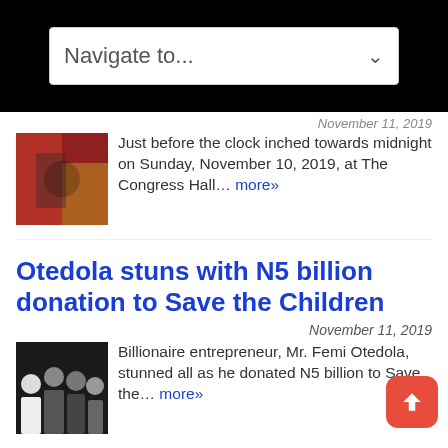Navigate to...
November 11, 2019
Just before the clock inched towards midnight on Sunday, November 10, 2019, at The Congress Hall... more»
Otedola stuns with N5 billion donation to Save the Children
November 11, 2019
Billionaire entrepreneur, Mr. Femi Otedola, stunned all as he donated N5 billion to Save the... more»
Otedola steps in again!